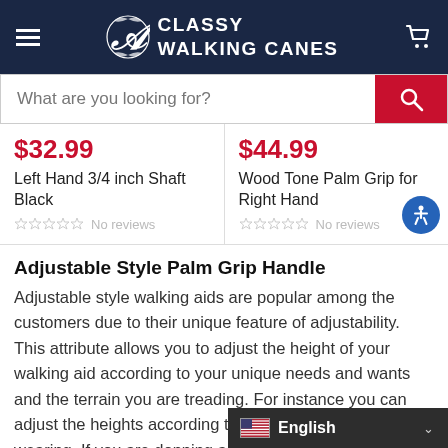CLASSY WALKING CANES
[Figure (screenshot): Search bar with placeholder text 'What are you looking for?' and a red search button]
$32.99
Left Hand 3/4 inch Shaft Black
No reviews
$44.99
Wood Tone Palm Grip for Right Hand
No reviews
Adjustable Style Palm Grip Handle
Adjustable style walking aids are popular among the customers due to their unique feature of adjustability. This attribute allows you to adjust the height of your walking aid according to your unique needs and wants and the terrain you are treading. For instance you can adjust the heights according to the footwear you are wearing. If you are donning a slipper, you can lower the